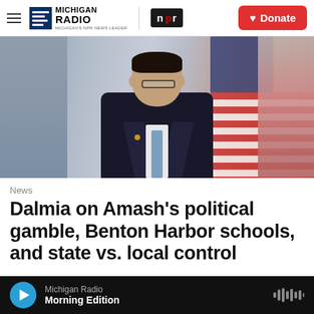Michigan Radio | NPR | Donate
[Figure (photo): Official portrait of a man in a dark suit with a light blue tie, with an American flag in the background]
News
Dalmia on Amash's political gamble, Benton Harbor schools, and state vs. local control
Michigan Radio — Morning Edition